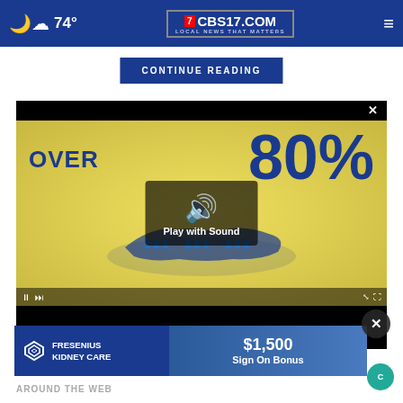74° CBS17.COM LOCAL NEWS THAT MATTERS
CONTINUE READING
[Figure (screenshot): Video player showing infographic with text OVER 80% and a map of the USA with people icons. A Play with Sound overlay button is displayed in the center of the video. Video playback controls bar visible at bottom of video frame.]
[Figure (screenshot): Advertisement banner for Fresenius Kidney Care offering $1,500 Sign On Bonus]
AROUND THE WEB